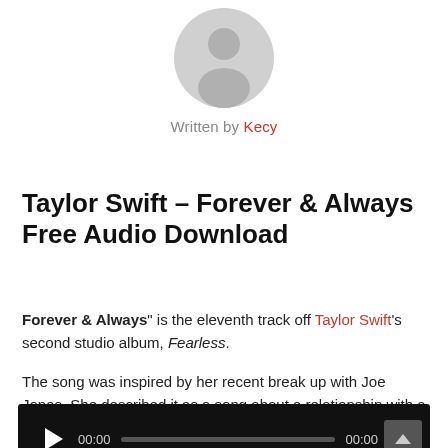[Figure (illustration): Gray circular avatar/profile icon with silhouette of a person, centered at top of page]
Written by Kecy
Taylor Swift – Forever & Always Free Audio Download
"Forever & Always" is the eleventh track off Taylor Swift's second studio album, Fearless.
The song was inspired by her recent break up with Joe Jonas. She described it as a song about a relationship with a man who she could feel was “slowly slipping away.”
[Figure (screenshot): Audio player with dark background showing play button, 00:00 start time, progress bar, 00:00 end time, and an up arrow button]